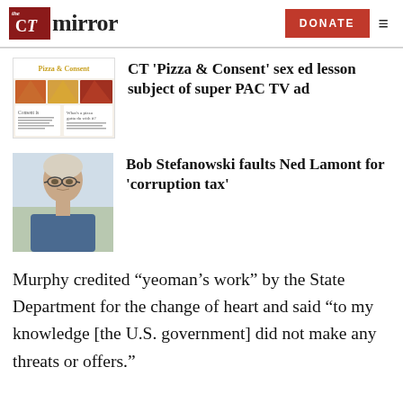the CT mirror | DONATE
[Figure (screenshot): CT Pizza & Consent educational material thumbnail showing pizza images and worksheet text]
CT ‘Pizza & Consent’ sex ed lesson subject of super PAC TV ad
[Figure (photo): Headshot photograph of Bob Stefanowski, a middle-aged man with glasses]
Bob Stefanowski faults Ned Lamont for ‘corruption tax’
Murphy credited “yeoman’s work” by the State Department for the change of heart and said “to my knowledge [the U.S. government] did not make any threats or offers.”